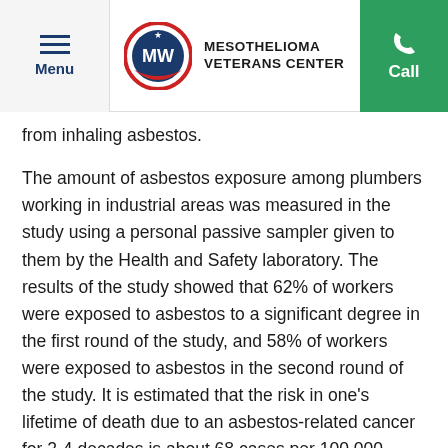Menu | MESOTHELIOMA VETERANS CENTER | Call
from inhaling asbestos.
The amount of asbestos exposure among plumbers working in industrial areas was measured in the study using a personal passive sampler given to them by the Health and Safety laboratory. The results of the study showed that 62% of workers were exposed to asbestos to a significant degree in the first round of the study, and 58% of workers were exposed to asbestos in the second round of the study. It is estimated that the risk in one's lifetime of death due to an asbestos-related cancer for 2-4 decades is about 68 cases per 100,000 people.
An additional study was done on more than 7,000 workers...